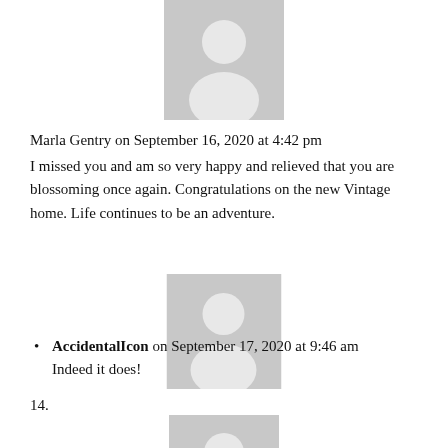[Figure (illustration): Gray placeholder avatar icon (person silhouette), top of page, centered]
Marla Gentry on September 16, 2020 at 4:42 pm
I missed you and am so very happy and relieved that you are blossoming once again. Congratulations on the new Vintage home. Life continues to be an adventure.
[Figure (illustration): Gray placeholder avatar icon (person silhouette), middle of page, centered]
AccidentalIcon on September 17, 2020 at 9:46 am
Indeed it does!
14.
[Figure (illustration): Gray placeholder avatar icon (person silhouette), bottom of page, centered, partially visible]